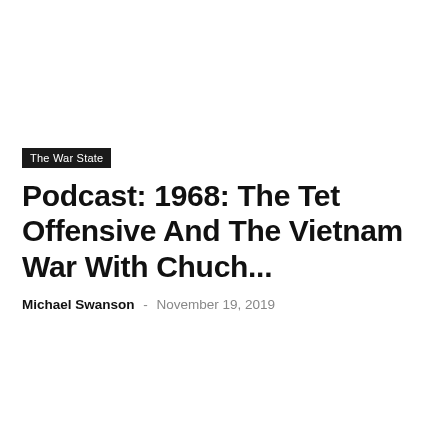The War State
Podcast: 1968: The Tet Offensive And The Vietnam War With Chuch...
Michael Swanson  -  November 19, 2019